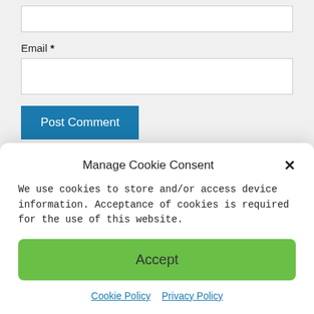Email *
Post Comment
Search ...
Manage Cookie Consent
We use cookies to store and/or access device information. Acceptance of cookies is required for the use of this website.
Accept
Cookie Policy   Privacy Policy